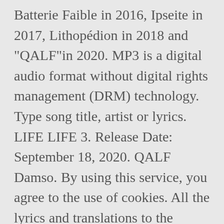Batterie Faible in 2016, Ipseite in 2017, Lithopédion in 2018 and "QALF"in 2020. MP3 is a digital audio format without digital rights management (DRM) technology. Type song title, artist or lyrics. LIFE LIFE 3. Release Date: September 18, 2020. QALF Damso. By using this service, you agree to the use of cookies. All the lyrics and translations to the album QALF by Damso. No one has reviewed this release group yet. Be the first to write a review. Find release reviews and credits for QALF - Damso on AllMusic - 2020 6. Damso Qalf Officiel, Paris. QALF, Damso's next long-awaited album in a single application! THEVIE RADIO (Interlude) 9 1. 3. BXL ZOO ft. Hamza 7. After the cryptic surprise drop of QALF,